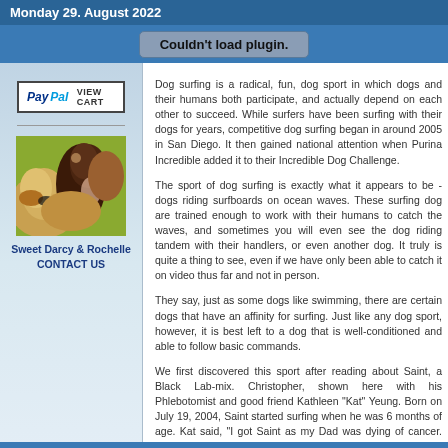Monday 29. August 2022
[Figure (screenshot): Gray bar with 'Couldn't load plugin.' button]
[Figure (photo): Photo of a golden dog and a woman with dark curly hair kissing the dog]
Sweet Darcy & Rochelle
CONTACT US
Dog surfing is a radical, fun, dog sport in which dogs and their humans both participate, and actually depend on each other to succeed. While surfers have been surfing with their dogs for years, competitive dog surfing began in around 2005 in San Diego. It then gained national attention when Purina Incredible added it to their Incredible Dog Challenge.
The sport of dog surfing is exactly what it appears to be - dogs riding surfboards on ocean waves. These surfing dog are trained enough to work with their humans to catch the waves, and sometimes you will even see the dog riding tandem with their handlers, or even another dog. It truly is quite a thing to see, even if we have only been able to catch it on video thus far and not in person.
They say, just as some dogs like swimming, there are certain dogs that have an affinity for surfing. Just like any dog sport, however, it is best left to a dog that is well-conditioned and able to follow basic commands.
We first discovered this sport after reading about Saint, a Black Lab-mix. Christopher, shown here with his Phlebotomist and good friend Kathleen "Kat" Yeung. Born on July 19, 2004, Saint started surfing when he was 6 months of age. Kat said, "I got Saint as my Dad was dying of cancer. Saint is my therapy dog, since my life has been in turmoil. I've lived in a domestic violent household. I sometimes think he's very Buddhist." (CLICK HERE to see him